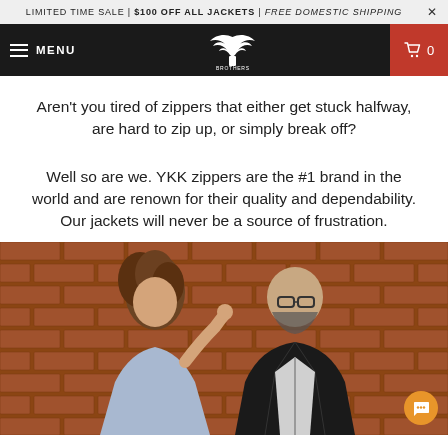LIMITED TIME SALE | $100 OFF ALL JACKETS | FREE DOMESTIC SHIPPING ×
MENU  [Independence Brothers logo]  🛒 0
Aren't you tired of zippers that either get stuck halfway, are hard to zip up, or simply break off?
Well so are we. YKK zippers are the #1 brand in the world and are renown for their quality and dependability. Our jackets will never be a source of frustration.
[Figure (photo): A woman and a man standing against a brick wall. The man is wearing a black leather jacket and glasses, the woman has curly hair and is adjusting the man's glasses or jacket.]